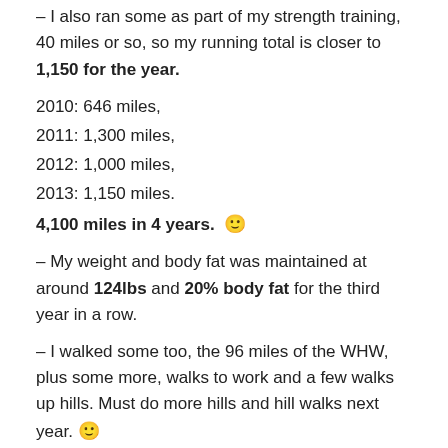– I also ran some as part of my strength training, 40 miles or so, so my running total is closer to 1,150 for the year.
2010: 646 miles,
2011: 1,300 miles,
2012: 1,000 miles,
2013: 1,150 miles.
4,100 miles in 4 years. 🙂
– My weight and body fat was maintained at around 124lbs and 20% body fat for the third year in a row.
– I walked some too, the 96 miles of the WHW, plus some more, walks to work and a few walks up hills. Must do more hills and hill walks next year. 🙂
Blog posts – my favourites
[Figure (other): A partially visible box/image preview at the bottom of the page]